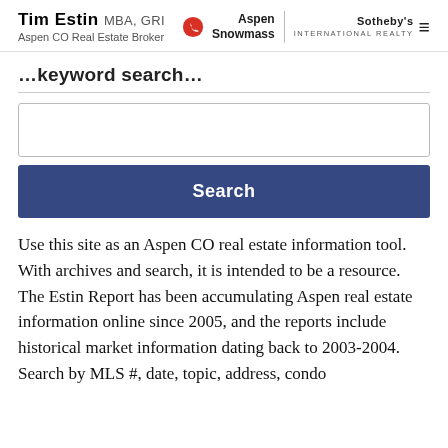Tim Estin MBA, GRI — Aspen CO Real Estate Broker | Aspen Snowmass Sotheby's International Realty
…keyword search…
[Figure (other): Search input box]
[Figure (other): Search button]
Use this site as an Aspen CO real estate information tool. With archives and search, it is intended to be a resource. The Estin Report has been accumulating Aspen real estate information online since 2005, and the reports include historical market information dating back to 2003-2004. Search by MLS #, date, topic, address, condo